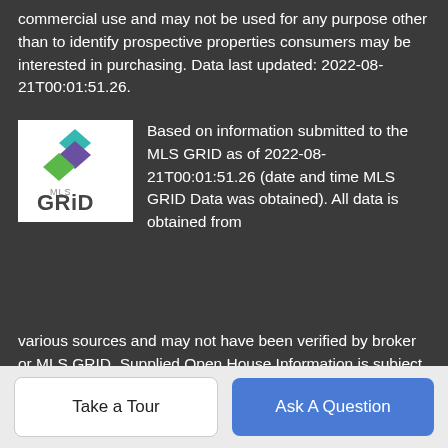commercial use and may not be used for any purpose other than to identify prospective properties consumers may be interested in purchasing. Data last updated: 2022-08-21T00:01:51.26.
[Figure (logo): MLS GRID logo — stacked colored diamond/squares in teal, purple, green above 'MLS GRID' text]
Based on information submitted to the MLS GRID as of 2022-08-21T00:01:51.26 (date and time MLS GRID Data was obtained). All data is obtained from various sources and may not have been verified by broker or MLS GRID. Supplied Open House Information is subject to change without notice. All information should be independently reviewed and verified for accuracy. Properties may or may not be listed by the office/agent presenting the information. Click here for MLS GRID DMCA Notice
© 2022 Houston Realtors Information Service, Inc. All rights reserved. All information provided is deemed reliable but is not guaranteed and should be independently verified. IDX information is provided exclusively for consumers' personal, non-commercial
Take a Tour
Ask A Question